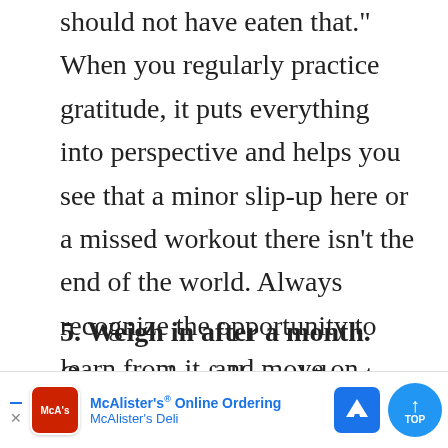should not have eaten that." When you regularly practice gratitude, it puts everything into perspective and helps you see that a minor slip-up here or a missed workout there isn't the end of the world. Always recognize the opportunity to learn from it, and move on.
5. Weigh in after a month. Once you've followed the steps above for a full month, they should start to feel like a habit, and you most likely won't be thinking about the scale nearly as much. You might also be feeling more confident, energized and stronger. If this is the case, it's time to take
ng back on nd progress
[Figure (other): McAlister's Deli advertisement banner with logo, 'McAlister's® Online Ordering' text, navigation icon, and a 'TOP' scroll button]